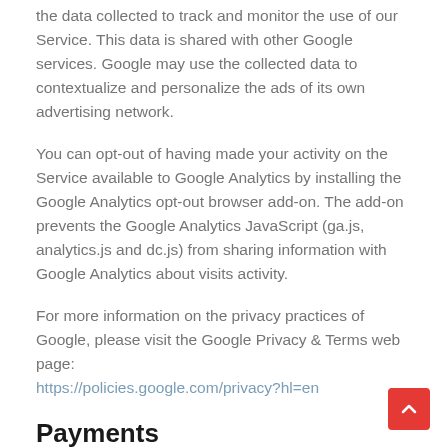the data collected to track and monitor the use of our Service. This data is shared with other Google services. Google may use the collected data to contextualize and personalize the ads of its own advertising network.
You can opt-out of having made your activity on the Service available to Google Analytics by installing the Google Analytics opt-out browser add-on. The add-on prevents the Google Analytics JavaScript (ga.js, analytics.js and dc.js) from sharing information with Google Analytics about visits activity.
For more information on the privacy practices of Google, please visit the Google Privacy & Terms web page: https://policies.google.com/privacy?hl=en
Payments
We may provide paid products and/or services within the